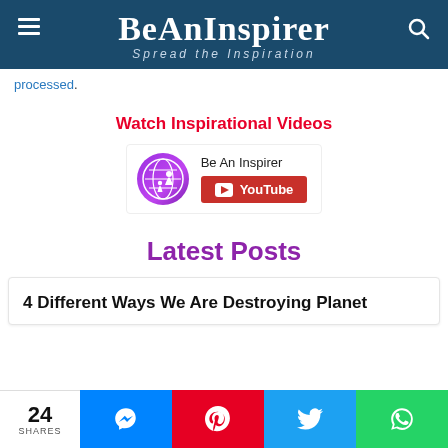BeAnInspirer — Spread the Inspiration
processed.
Watch Inspirational Videos
[Figure (logo): Be An Inspirer YouTube channel widget with purple globe logo and red YouTube subscribe button]
Latest Posts
4 Different Ways We Are Destroying Planet
24 SHARES